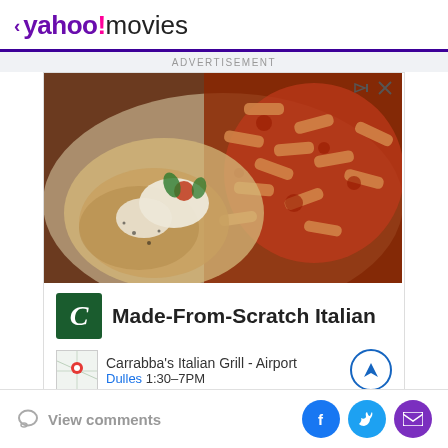< yahoo!movies
ADVERTISEMENT
[Figure (photo): Advertisement for Carrabba's Italian Grill featuring a photo of Italian food (grilled chicken with mozzarella and pasta with marinara sauce), a green Carrabba's logo with stylized C, location info 'Carrabba's Italian Grill - Airport', 'Dulles 1:30-7PM', and a navigation circle button. Headline reads 'Made-From-Scratch Italian'.]
View comments
[Figure (logo): Social share buttons: Facebook (blue circle with f), Twitter (blue circle with bird), Email/Mail (purple circle with envelope)]